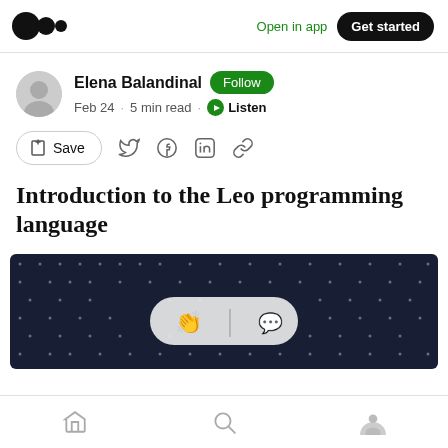Open in app  Get started
Elena Balandinal  Follow
Feb 24 · 5 min read · Listen
Save (social share icons)
Introduction to the Leo programming language
[Figure (illustration): Dark background hero image with dot-grid pattern and a pill-shaped overlay with clapping hands and speech bubble icons]
Home  Search  Profile navigation icons